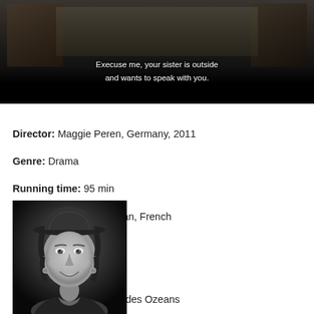[Figure (screenshot): Movie still / screenshot showing a dark indoor scene with white subtitle text reading 'Execuse me, your sister is outside and wants to speak with you.']
Director: Maggie Peren, Germany, 2011
Genre: Drama
Running time: 95 min
Speech: Spanish, German, French
Subtitels: English
Age limit: 15 years
Original titel: Die Farbe des Ozeans
Distributor: Global Screen, Tyskland
[Figure (photo): Black and white portrait photo of a woman wearing a dark hat, smiling, shown from shoulders up]